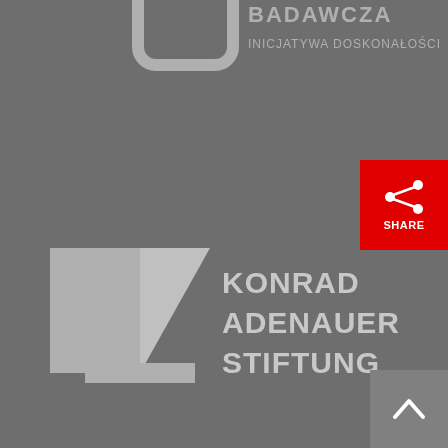[Figure (logo): Partial top logo showing a rounded square icon outline and text 'BADAWCZA / INICJATYWA DOSKONAŁOŚCI' in light gray on dark gray background]
[Figure (logo): Konrad Adenauer Stiftung logo: stylized A/slash geometric symbol in light gray, with text 'KONRAD ADENAUER STIFTUNG' in bold light gray sans-serif]
[Figure (other): Red share button with network/share icon and 'SHARE' label in white]
[Figure (other): Gray back-to-top button with upward chevron arrow icon]